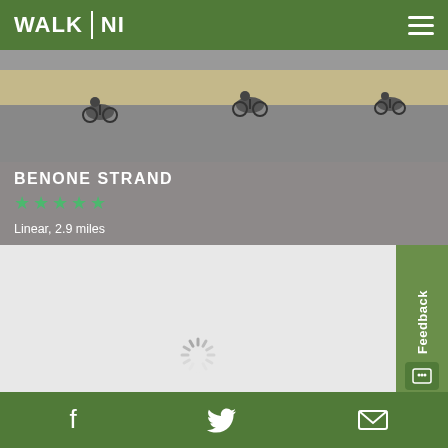WALK NI
[Figure (photo): Cyclists riding on a road/track with sandy dune landscape in the background]
BENONE STRAND
Linear, 2.9 miles
Sandy beach backed by duneland
[Figure (map): A light grey map area showing loading spinner, representing a web map placeholder]
Facebook, Twitter, Email icons